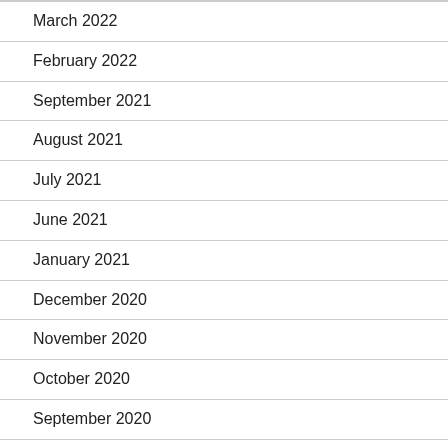March 2022
February 2022
September 2021
August 2021
July 2021
June 2021
January 2021
December 2020
November 2020
October 2020
September 2020
August 2020
CATEGORIES